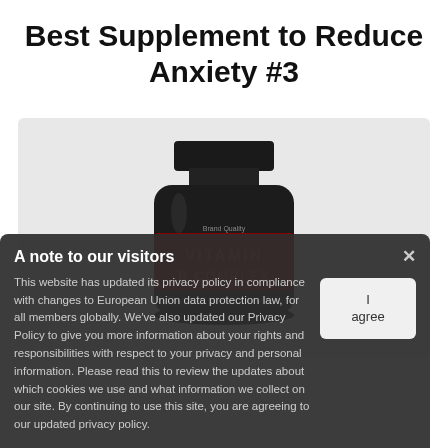Best Supplement to Reduce Anxiety #3
[Figure (photo): Dark/black supplement bottle labeled VITAMIN B COMPLEX with red label details, shown against a light gray background]
A note to our visitors
This website has updated its privacy policy in compliance with changes to European Union data protection law, for all members globally. We've also updated our Privacy Policy to give you more information about your rights and responsibilities with respect to your privacy and personal information. Please read this to review the updates about which cookies we use and what information we collect on our site. By continuing to use this site, you are agreeing to our updated privacy policy.